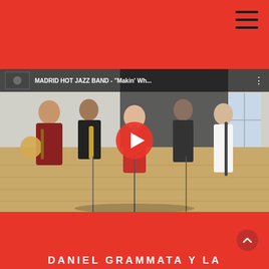Navigation header with hamburger menu
[Figure (screenshot): YouTube video thumbnail showing Madrid Hot Jazz Band performing. Title bar reads: MADRID HOT JAZZ BAND - 'Makin' Wh...' with a red play button overlay. Band members playing banjo, saxophone, trombone, clarinet, and a female singer in a red dress in a studio with wooden floors.]
DANIEL GRAMMATA Y LA